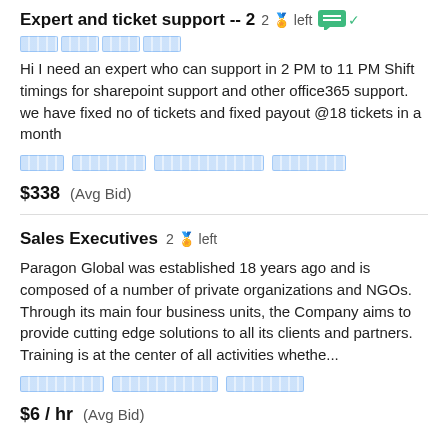Expert and ticket support -- 2  2 🏅 left
Hi I need an expert who can support in 2 PM to 11 PM Shift timings for sharepoint support and other office365 support. we have fixed no of tickets and fixed payout @18 tickets in a month
$338  (Avg Bid)
Sales Executives  2 🏅 left
Paragon Global was established 18 years ago and is composed of a number of private organizations and NGOs. Through its main four business units, the Company aims to provide cutting edge solutions to all its clients and partners. Training is at the center of all activities whethe...
$6 / hr  (Avg Bid)